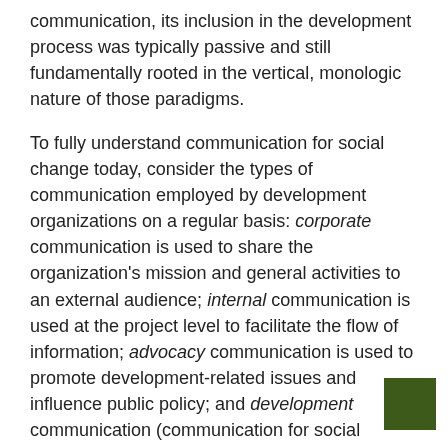communication, its inclusion in the development process was typically passive and still fundamentally rooted in the vertical, monologic nature of those paradigms.
To fully understand communication for social change today, consider the types of communication employed by development organizations on a regular basis: corporate communication is used to share the organization's mission and general activities to an external audience; internal communication is used at the project level to facilitate the flow of information; advocacy communication is used to promote development-related issues and influence public policy; and development communication (communication for social change) is used to “support sustainable change in development operations by engaging key stakeholders” (Mefalopulos, 5). Although these areas overlap at points, development communication is marked by clear differences in purpose as well as the body of theory that shapes it practice.
[Figure (other): Small dark olive/green square decorative element in bottom-right corner]